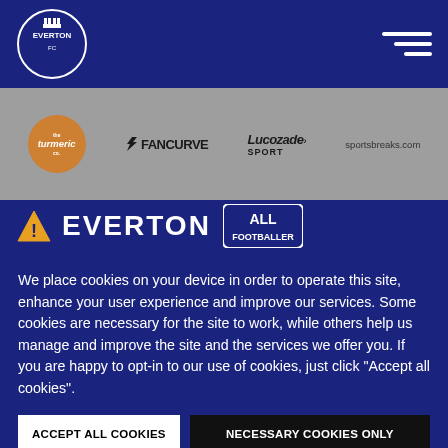[Figure (logo): Everton FC logo (white crest on navy background) in top-left navigation bar]
[Figure (logo): Hamburger/menu icon (three horizontal lines) in top-right navigation bar]
[Figure (logo): Sponsors bar showing logos: turmeric co (gold circle), FANCURVE, Lucozade Sport, sportsbreaks.com]
We place cookies on your device in order to operate this site, enhance your user experience and improve our services. Some cookies are necessary for the site to work, while others help us manage and improve the site and the services we offer you. If you are happy to opt-in to our use of cookies, just click "Accept all cookies".
ACCEPT ALL COOKIES
NECESSARY COOKIES ONLY
+ Review our use of cookies and set your preferences